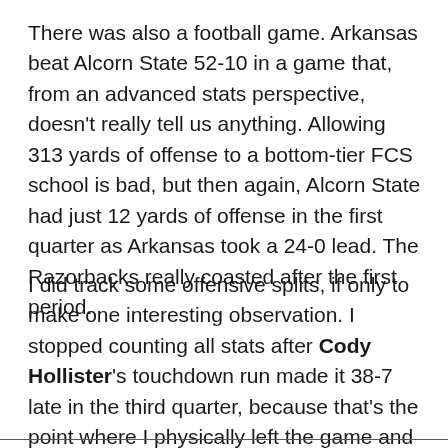There was also a football game. Arkansas beat Alcorn State 52-10 in a game that, from an advanced stats perspective, doesn't really tell us anything. Allowing 313 yards of offense to a bottom-tier FCS school is bad, but then again, Alcorn State had just 12 yards of offense in the first quarter as Arkansas took a 24-0 lead. The Razorbacks really coasted after the first period.
I did track some offensive splits, if only to make one interesting observation. I stopped counting all stats after Cody Hollister's touchdown run made it 38-7 late in the third quarter, because that's the point where I physically left the game and it seemed like a good point to declare it junk time.